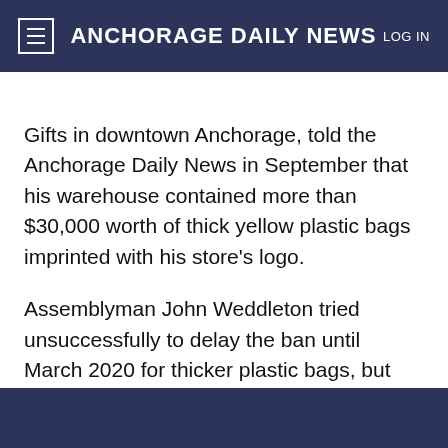Anchorage Daily News
Start your subscription for just $1.99  SUBSCRIBE
Gifts in downtown Anchorage, told the Anchorage Daily News in September that his warehouse contained more than $30,000 worth of thick yellow plastic bags imprinted with his store's logo.
Assemblyman John Weddleton tried unsuccessfully to delay the ban until March 2020 for thicker plastic bags, but Constant and other Assembly members said they were worried about creating confusion.